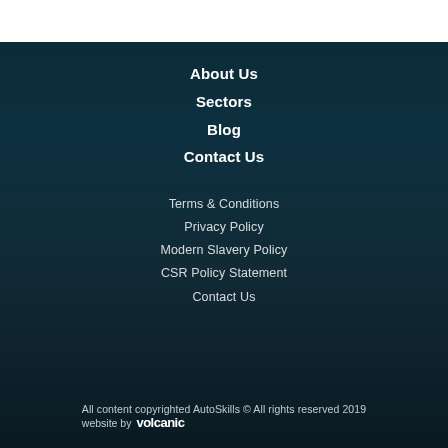About Us
Sectors
Blog
Contact Us
Terms & Conditions
Privacy Policy
Modern Slavery Policy
CSR Policy Statement
Contact Us
All content copyrighted AutoSkills © All rights reserved 2019
website by volcanic